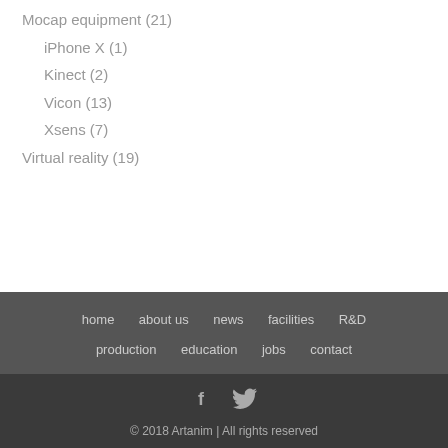Mocap equipment (21)
iPhone X (1)
Kinect (2)
Vicon (13)
Xsens (7)
Virtual reality (19)
home  about us  news  facilities  R&D  production  education  jobs  contact  © 2018 Artanim | All rights reserved